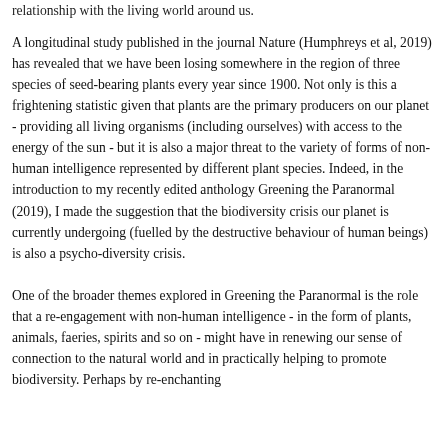relationship with the living world around us.
A longitudinal study published in the journal Nature (Humphreys et al, 2019) has revealed that we have been losing somewhere in the region of three species of seed-bearing plants every year since 1900. Not only is this a frightening statistic given that plants are the primary producers on our planet - providing all living organisms (including ourselves) with access to the energy of the sun - but it is also a major threat to the variety of forms of non-human intelligence represented by different plant species. Indeed, in the introduction to my recently edited anthology Greening the Paranormal (2019), I made the suggestion that the biodiversity crisis our planet is currently undergoing (fuelled by the destructive behaviour of human beings) is also a psycho-diversity crisis.
One of the broader themes explored in Greening the Paranormal is the role that a re-engagement with non-human intelligence - in the form of plants, animals, faeries, spirits and so on - might have in renewing our sense of connection to the natural world and in practically helping to promote biodiversity. Perhaps by re-enchanting